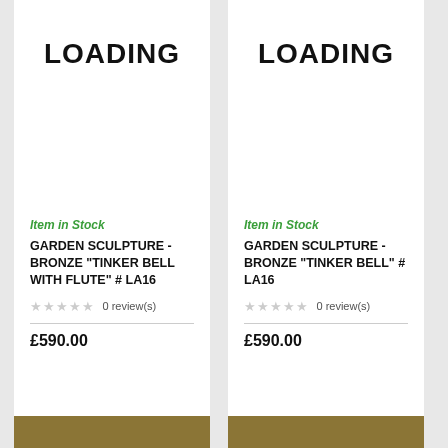LOADING
Item in Stock
GARDEN SCULPTURE - BRONZE "TINKER BELL WITH FLUTE" # LA16
0 review(s)
£590.00
LOADING
Item in Stock
GARDEN SCULPTURE - BRONZE "TINKER BELL" # LA16
0 review(s)
£590.00